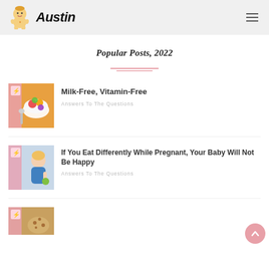Austin
Popular Posts, 2022
[Figure (illustration): Decorative pink double-underline divider]
[Figure (photo): Bowl of colorful fruit salad on yellow plate with spoon, with pink lightning bolt badge]
Milk-Free, Vitamin-Free
Answers To The Questions
[Figure (photo): Pregnant woman in blue swimsuit holding green item, with pink lightning bolt badge]
If You Eat Differently While Pregnant, Your Baby Will Not Be Happy
Answers To The Questions
[Figure (photo): Third post thumbnail with pink badge, partially visible at bottom]